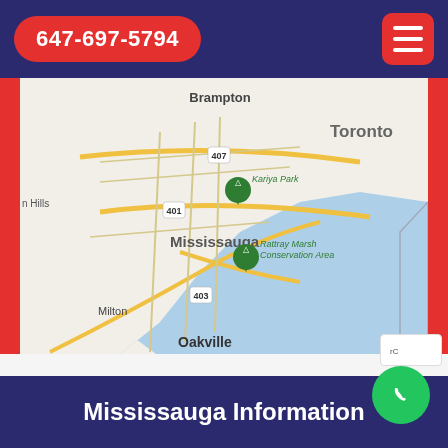647-697-5794
[Figure (map): Google Maps view showing the Greater Toronto Area including Mississauga, Brampton, Oakville, Burlington, Hamilton, Milton, and surrounding areas along Lake Ontario. Route 407, 401, 403, and other highways visible. Landmarks include Kariya Park and Rattray Marsh Conservation Area. Also shows Grimsby and Niagara-on-the-Lake.]
Mississauga Information